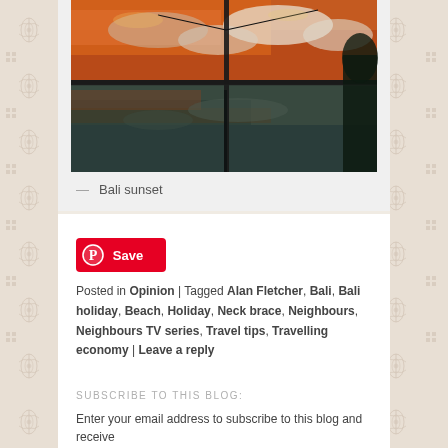[Figure (photo): A Bali sunset photograph showing a reflection of orange and pink clouds in water, with a vertical post/pole in the center and dark vegetation on the right edge.]
— Bali sunset
[Figure (other): Pinterest Save button with circular P logo in red background]
Posted in Opinion | Tagged Alan Fletcher, Bali, Bali holiday, Beach, Holiday, Neck brace, Neighbours, Neighbours TV series, Travel tips, Travelling economy | Leave a reply
SUBSCRIBE TO THIS BLOG:
Enter your email address to subscribe to this blog and receive